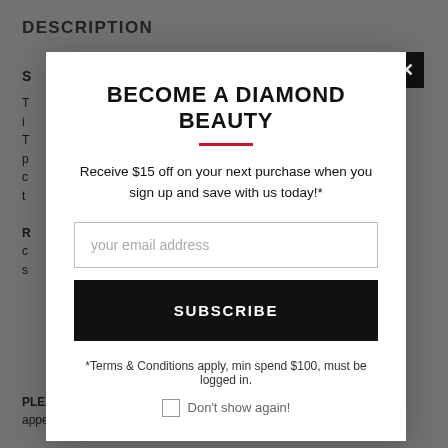DESCRIPTION
S
T
i
T
p
c
t
R
c
s
PLEASE NOTE: the image every customer will see that appear here will appear when applied and swatched.
BECOME A DIAMOND BEAUTY
Receive $15 off on your next purchase when you sign up and save with us today!*
your email address
SUBSCRIBE
*Terms & Conditions apply, min spend $100, must be logged in.
Don't show again!